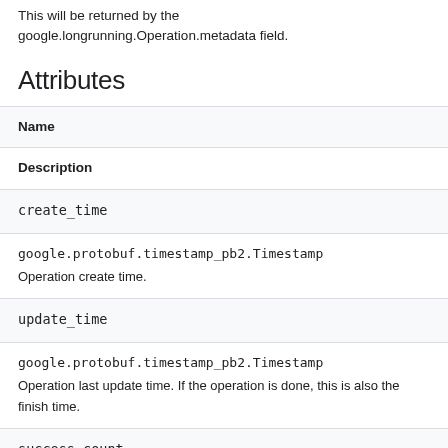This will be returned by the google.longrunning.Operation.metadata field.
Attributes
| Name | Description |
| --- | --- |
| create_time | google.protobuf.timestamp_pb2.Timestamp
Operation create time. |
| update_time | google.protobuf.timestamp_pb2.Timestamp
Operation last update time. If the operation is done, this is also the finish time. |
| success_count |  |